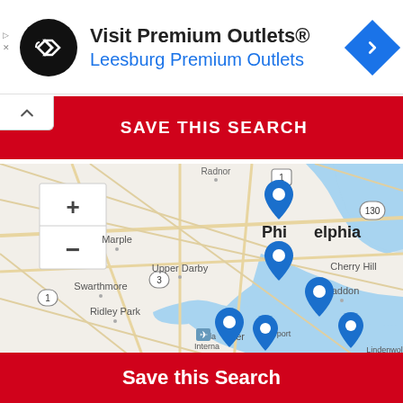[Figure (screenshot): Advertisement banner for Visit Premium Outlets - Leesburg Premium Outlets with black circular logo and blue navigation diamond icon]
SAVE THIS SEARCH
[Figure (map): Map of Philadelphia area showing blue location pins around Philadelphia, Delaware County, and New Jersey suburbs including Upper Darby, Swarthmore, Ridley Park, Haddon, Cherry Hill, Deptford, and Lindenwold areas]
Save this Search